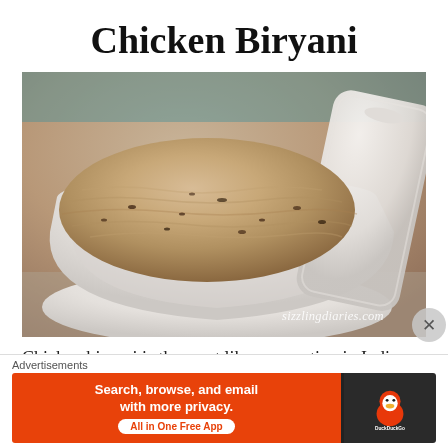Chicken Biryani
[Figure (photo): A white ceramic serving dish filled with chicken biryani (rice dish), with the lid resting on the side. Photo watermarked with sizzlingdiaries.com]
Chicken biryani is the most like preparation in India. Ideal
Advertisements
[Figure (screenshot): DuckDuckGo advertisement banner: orange background with text 'Search, browse, and email with more privacy. All in One Free App' and DuckDuckGo logo on dark background]